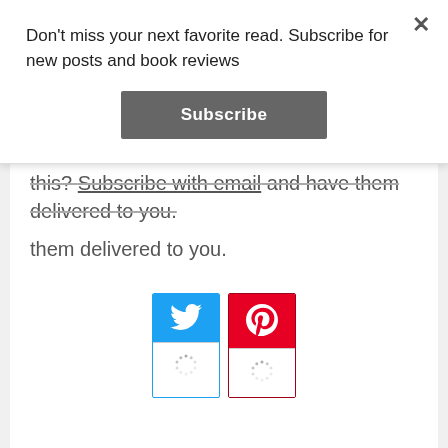Don't miss your next favorite read. Subscribe for new posts and book reviews
Subscribe
this? Subscribe with email and have them delivered to you.
[Figure (infographic): Twitter and Pinterest social share buttons with loading spinners below each icon]
BY BIANCA
2 COMMENTS